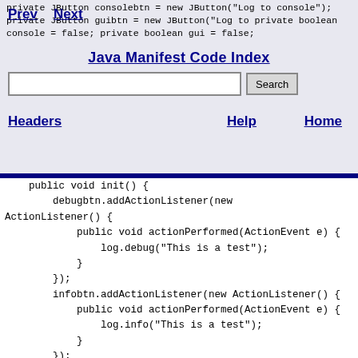Prev  Next  Java Manifest Code Index  Search  Headers  Help  Home
private JButton consolebtn = new JButton("Log to console");
    private JButton guibtn = new JButton("Log to
    private boolean console = false;
    private boolean gui = false;
    public void init() {
        debugbtn.addActionListener(new ActionListener() {
            public void actionPerformed(ActionEvent e) {
                log.debug("This is a test");
            }
        });
        infobtn.addActionListener(new ActionListener() {
            public void actionPerformed(ActionEvent e) {
                log.info("This is a test");
            }
        });
        warnbtn.addActionListener(new ActionListener() {
        {
            public void actionPerformed(ActionEvent e) {
                log.warn("This is a test");
            }
        });
        errorbtn.addActionListener(new ActionListener()
        {